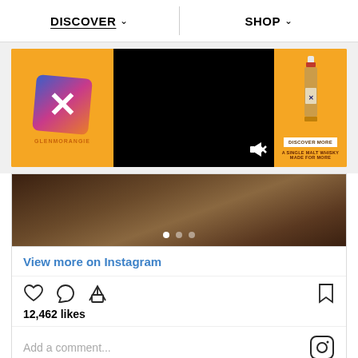DISCOVER  SHOP
[Figure (photo): Glenmorangie X whisky advertisement banner with orange background, logo on left, video player in center showing black screen with mute icon, and bottle of whisky on right with DISCOVER MORE button]
[Figure (photo): Instagram carousel post showing a dark wooden textured background image with three navigation dots at the bottom]
View more on Instagram
12,462 likes
Add a comment...
First and foremost, the joint release serves up an